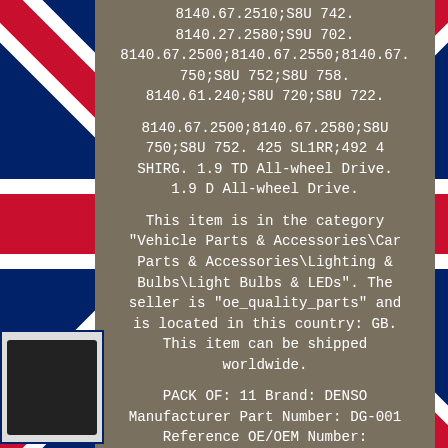[Figure (photo): UK Union Jack flag background visible on left and right sides of the grey panel]
8140.67.2510;S8U 742. 8140.27.2580;S9U 702. 8140.67.2500;8140.67.2550;8140.67. 750;S8U 752;S8U 758. 8140.61.240;S8U 720;S8U 722.
8140.67.2500;8140.67.2580;S8U 750;S8U 752. 425 SL1RR;492 4 SHIRG. 1.9 TD All-wheel Drive. 1.9 D All-wheel Drive.
This item is in the category "Vehicle Parts & Accessories\Car Parts & Accessories\Lighting & Bulbs\Light Bulbs & LEDs". The seller is "oe_quality_parts" and is located in this country: GB. This item can be shipped worldwide.
PACK OF: 11 Brand: DENSO Manufacturer Part Number: DG-001 Reference OE/OEM Number:
[Figure (photo): Small thumbnail image of a car part (appears to be a dark automotive component) on the left side]